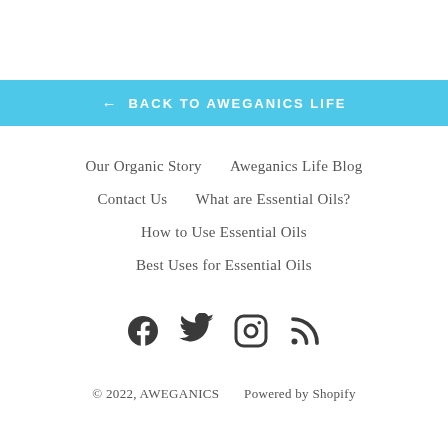← BACK TO AWEGANICS LIFE
Our Organic Story
Aweganics Life Blog
Contact Us
What are Essential Oils?
How to Use Essential Oils
Best Uses for Essential Oils
[Figure (infographic): Social media icons: Facebook, Twitter, Instagram, RSS feed]
© 2022, AWEGANICS      Powered by Shopify